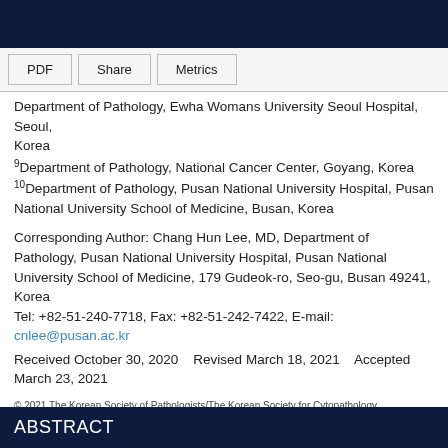Department of Pathology, Ewha Womans University Seoul Hospital, Seoul, Korea
9Department of Pathology, National Cancer Center, Goyang, Korea
10Department of Pathology, Pusan National University Hospital, Pusan National University School of Medicine, Busan, Korea
Corresponding Author: Chang Hun Lee, MD, Department of Pathology, Pusan National University Hospital, Pusan National University School of Medicine, 179 Gudeok-ro, Seo-gu, Busan 49241, Korea
Tel: +82-51-240-7718, Fax: +82-51-242-7422, E-mail: cnlee@pusan.ac.kr
Received October 30, 2020    Revised March 18, 2021    Accepted March 23, 2021
© 2021 The Korean Society of Pathologists/The Korean Society for Cytopathology
This is an Open Access article distributed under the terms of the Creative Commons Attribution Non-Commercial License (http://creativecommons.org/licenses/by-nc/4.0) which permits unrestricted non-commercial use, distribution, and reproduction in any medium, provided the original work is properly cited.
ABSTRACT